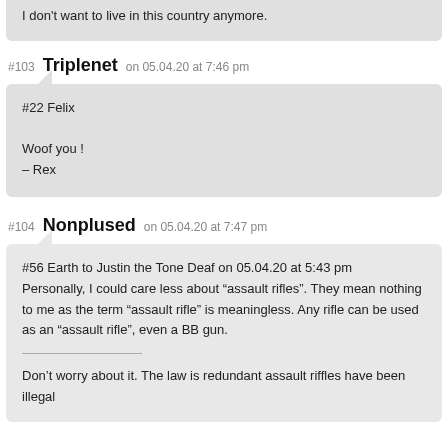I don't want to live in this country anymore.
#103 Triplenet on 05.04.20 at 7:46 pm
#22 Felix

Woof you !
– Rex
#104 Nonplused on 05.04.20 at 7:47 pm
#56 Earth to Justin the Tone Deaf on 05.04.20 at 5:43 pm
Personally, I could care less about “assault rifles”. They mean nothing to me as the term “assault rifle” is meaningless. Any rifle can be used as an “assault rifle”, even a BB gun.

Don't worry about it. The law is redundant assault riffles have been illegal